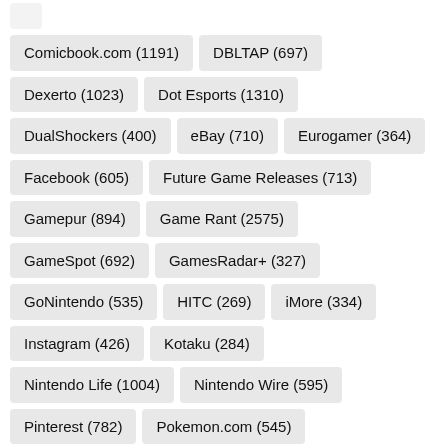Comicbook.com (1191)
DBLTAP (697)
Dexerto (1023)
Dot Esports (1310)
DualShockers (400)
eBay (710)
Eurogamer (364)
Facebook (605)
Future Game Releases (713)
Gamepur (894)
Game Rant (2575)
GameSpot (692)
GamesRadar+ (327)
GoNintendo (535)
HITC (269)
iMore (334)
Instagram (426)
Kotaku (284)
Nintendo Life (1004)
Nintendo Wire (595)
Pinterest (782)
Pokemon.com (545)
Pokemon Center (371)
Pokemon GO Hub (803)
Pokemon Wiki - Fandom (296)
Pokémon Blog (311)
Polygon (409)
Reddit (1103)
Republic World (635)